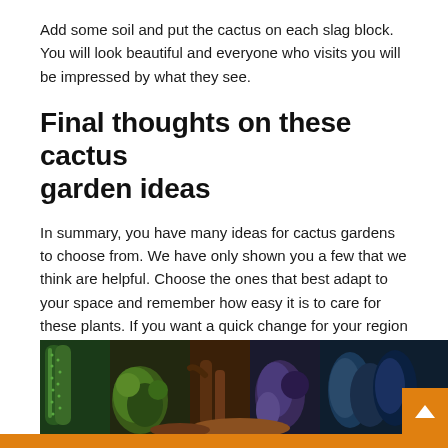Add some soil and put the cactus on each slag block. You will look beautiful and everyone who visits you will be impressed by what they see.
Final thoughts on these cactus garden ideas
In summary, you have many ideas for cactus gardens to choose from. We have only shown you a few that we think are helpful. Choose the ones that best adapt to your space and remember how easy it is to care for these plants. If you want a quick change for your region and don't know what a garden could be the starting point for.
If you enjoyed reading this article about cactus garden ideas, you should also read this:
[Figure (photo): A collage of colorful cactus garden photos showing various cactus species in different colors including green, blue, and orange-toned varieties.]